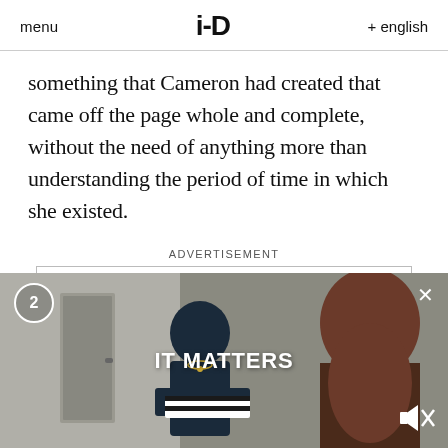menu   i-D   + english
something that Cameron had created that came off the page whole and complete, without the need of anything more than understanding the period of time in which she existed.
ADVERTISEMENT
[Figure (other): Marc Jacobs advertisement box with brand name and SHOP NOW link]
[Figure (photo): Video overlay showing two women in a room, one holding a box, with text IT MATTERS overlaid, counter badge showing 2, close button X, and mute icon]